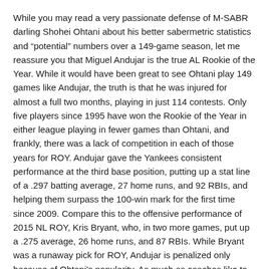While you may read a very passionate defense of M-SABR darling Shohei Ohtani about his better sabermetric statistics and “potential” numbers over a 149-game season, let me reassure you that Miguel Andujar is the true AL Rookie of the Year. While it would have been great to see Ohtani play 149 games like Andujar, the truth is that he was injured for almost a full two months, playing in just 114 contests. Only five players since 1995 have won the Rookie of the Year in either league playing in fewer games than Ohtani, and frankly, there was a lack of competition in each of those years for ROY. Andujar gave the Yankees consistent performance at the third base position, putting up a stat line of a .297 batting average, 27 home runs, and 92 RBIs, and helping them surpass the 100-win mark for the first time since 2009. Compare this to the offensive performance of 2015 NL ROY, Kris Bryant, who, in two more games, put up a .275 average, 26 home runs, and 87 RBIs. While Bryant was a runaway pick for ROY, Andujar is penalized only because of Ohtani’s popularity. As much as coaches like to say a player can bring value being in the dugout, the best ability is availability, and Andujar was excellent for nearly a quarter of a season more than Ohtani.